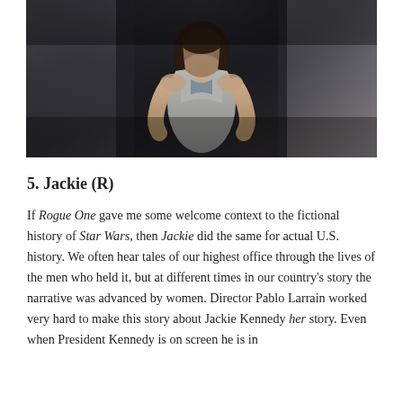[Figure (photo): A woman in a white tank top standing in a dimly lit setting, photographed from below looking up, dark moody lighting]
5. Jackie (R)
If Rogue One gave me some welcome context to the fictional history of Star Wars, then Jackie did the same for actual U.S. history. We often hear tales of our highest office through the lives of the men who held it, but at different times in our country's story the narrative was advanced by women. Director Pablo Larrain worked very hard to make this story about Jackie Kennedy her story. Even when President Kennedy is on screen he is in